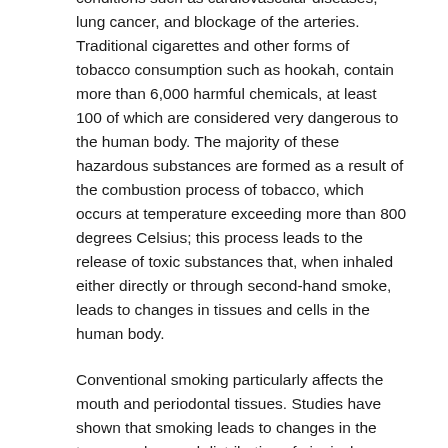conditions such as cardiovascular diseases, lung cancer, and blockage of the arteries. Traditional cigarettes and other forms of tobacco consumption such as hookah, contain more than 6,000 harmful chemicals, at least 100 of which are considered very dangerous to the human body. The majority of these hazardous substances are formed as a result of the combustion process of tobacco, which occurs at temperature exceeding more than 800 degrees Celsius; this process leads to the release of toxic substances that, when inhaled either directly or through second-hand smoke, leads to changes in tissues and cells in the human body.
Conventional smoking particularly affects the mouth and periodontal tissues. Studies have shown that smoking leads to changes in the type, number, and distribution of gingival